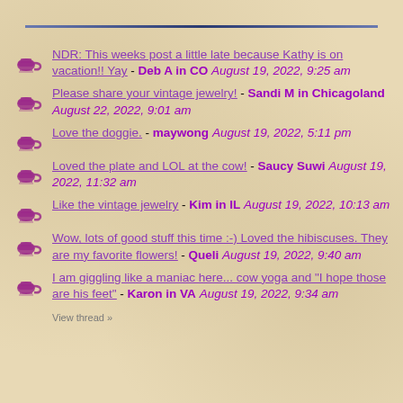NDR: This weeks post a little late because Kathy is on vacation!! Yay - Deb A in CO August 19, 2022, 9:25 am
Please share your vintage jewelry! - Sandi M in Chicagoland August 22, 2022, 9:01 am
Love the doggie. - maywong August 19, 2022, 5:11 pm
Loved the plate and LOL at the cow! - Saucy Suwi August 19, 2022, 11:32 am
Like the vintage jewelry - Kim in IL August 19, 2022, 10:13 am
Wow, lots of good stuff this time :-) Loved the hibiscuses. They are my favorite flowers! - Queli August 19, 2022, 9:40 am
I am giggling like a maniac here... cow yoga and "I hope those are his feet" - Karon in VA August 19, 2022, 9:34 am
View thread »